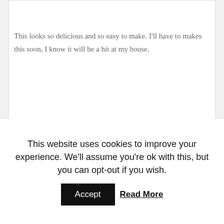This looks so delicious and so easy to make. I'll have to makes this soon, I know it will be a hit at my house.
Reply
This website uses cookies to improve your experience. We'll assume you're ok with this, but you can opt-out if you wish.
Accept
Read More